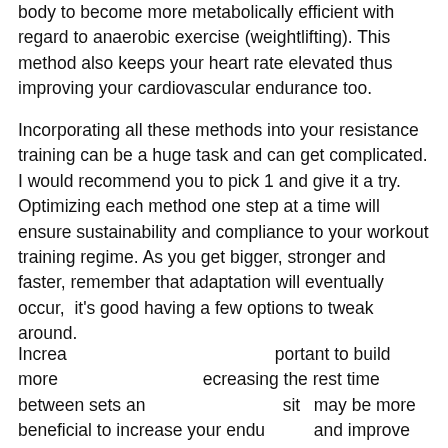body to become more metabolically efficient with regard to anaerobic exercise (weightlifting). This method also keeps your heart rate elevated thus improving your cardiovascular endurance too.
Incorporating all these methods into your resistance training can be a huge task and can get complicated. I would recommend you to pick 1 and give it a try. Optimizing each method one step at a time will ensure sustainability and compliance to your workout training regime. As you get bigger, stronger and faster, remember that adaptation will eventually occur,  it's good having a few options to tweak around.
Increasing total volume will be important to build more [obscured] decreasing the rest time between sets and [obscured] it may be more beneficial to increase your endurance and improve cardiovascular fitness. The techniques
[Figure (screenshot): Orange 'Book an Appointment' button overlay with a calendar icon, an orange up-arrow circle button, a dark grey 'WhatsApp Us!' tooltip, and a green WhatsApp circle icon button]